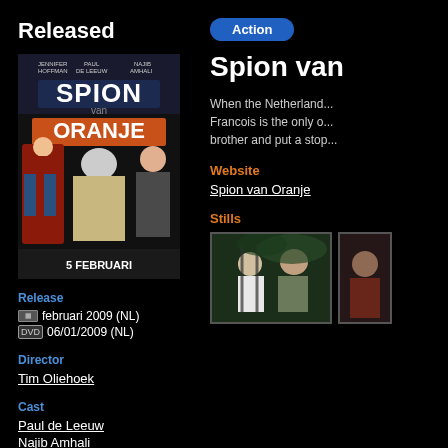Released
[Figure (photo): Movie poster for Spion van Oranje showing three characters - a woman in red jacket, a heavy-set man in trench coat, and a man with gun. Text reads '5 Februari' at bottom.]
Release
februari 2009 (NL)
06/01/2009 (NL)
Director
Tim Oliehoek
Cast
Paul de Leeuw
Najib Amhali
[Figure (logo): Action genre badge - blue rounded rectangle with text 'Action']
Spion van
When the Netherlands... Francois is the only o... brother and put a stop...
Website
Spion van Oranje
Stills
[Figure (photo): Movie still showing two men, one in white shirt behind what appears to be bars/cage, dark green tones]
[Figure (photo): Partial movie still showing a person, cropped at right edge]